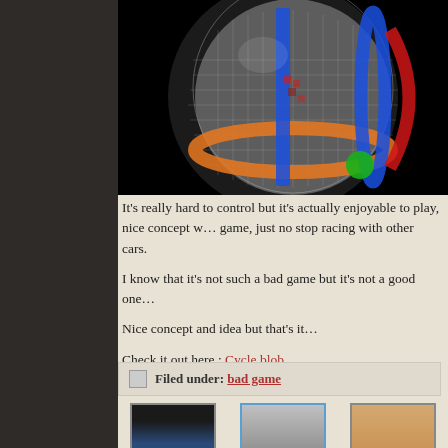[Figure (screenshot): 3D Rubik's cube-like spherical ball game screenshot on black background with colored bands (blue, red, orange, green)]
It's really hard to control but it's actually enjoyable to play, nice concept w… game, just no stop racing with other cars.
I know that it's not such a bad game but it's not a good one…
Nice concept and idea but that's it…
Check it out here : Cycle blob
Filed under: bad game
[Figure (photo): The Tragedy Of Markiplier Is So]
[Figure (photo): The Tragedy Of Mark Ruffalo Just]
[Figure (illustration): Video Games You Really Shouldn't]